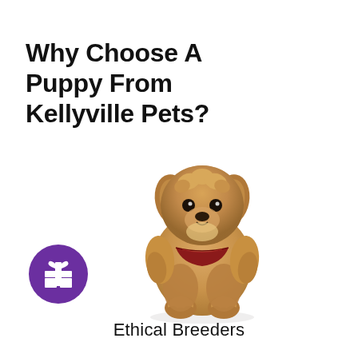Why Choose A Puppy From Kellyville Pets?
[Figure (photo): A fluffy golden-brown puppy (Cavoodle/Teddy Bear dog) sitting upright wearing a red plaid collar/bandana on a white background.]
[Figure (logo): Purple circular icon containing a white gift box symbol.]
Ethical Breeders